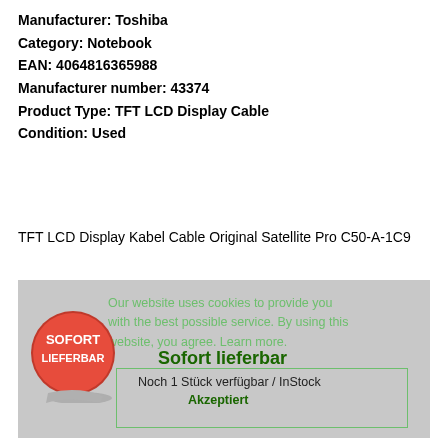Manufacturer: Toshiba
Category: Notebook
EAN: 4064816365988
Manufacturer number: 43374
Product Type: TFT LCD Display Cable
Condition: Used
TFT LCD Display Kabel Cable Original Satellite Pro C50-A-1C9
[Figure (photo): Gray-background product availability panel with a red 'Sofort Lieferbar' sticker on the left, green cookie notice text overlaid, green outlined box with 'Noch 1 Stück verfügbar / InStock' and 'Akzeptiert' text, and bold dark green 'Sofort lieferbar' heading.]